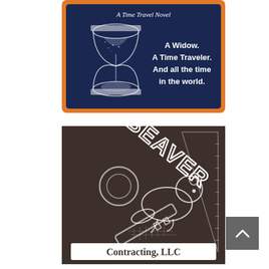[Figure (illustration): Book cover for a time travel novel showing a dark navy background with an hourglass and orange border. Text reads 'A Time Travel Novel' at top, and 'A Widow. A Time Traveler. And all the time in the world.' on the right side.]
[Figure (logo): Beaver Contracting LLC logo on a dark brown background. Features a stylized beaver silhouette, a key graphic, a ruler/triangle, and large diagonal text 'BEAVER' at the top with 'Contracting, LLC' on a white banner at the bottom.]